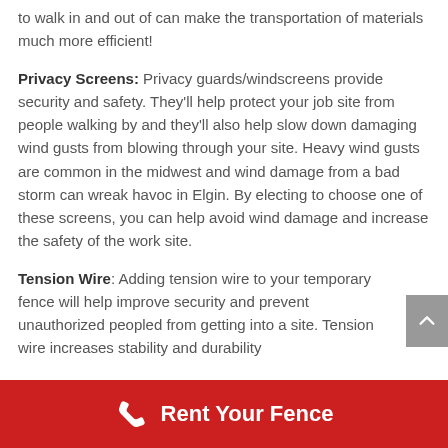to walk in and out of can make the transportation of materials much more efficient!
Privacy Screens: Privacy guards/windscreens provide security and safety. They'll help protect your job site from people walking by and they'll also help slow down damaging wind gusts from blowing through your site. Heavy wind gusts are common in the midwest and wind damage from a bad storm can wreak havoc in Elgin. By electing to choose one of these screens, you can help avoid wind damage and increase the safety of the work site.
Tension Wire: Adding tension wire to your temporary fence will help improve security and prevent unauthorized peopled from getting into a site. Tension wire increases stability and durability
Rent Your Fence